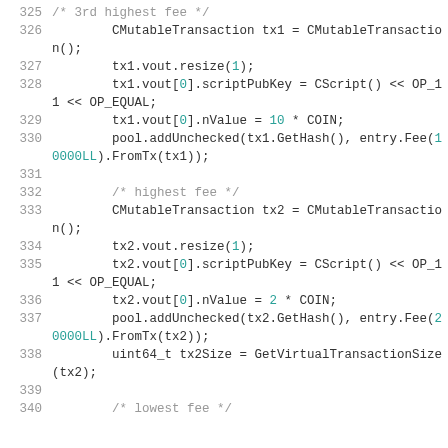[Figure (screenshot): Source code snippet in C++ showing Bitcoin transaction pool test code, lines 325-340, with line numbers on the left and syntax-highlighted code on the right. Lines include CMutableTransaction construction, vout resizing, scriptPubKey assignment, nValue assignments, pool.addUnchecked calls, uint64_t variable declaration, and comments for highest fee and lowest fee.]